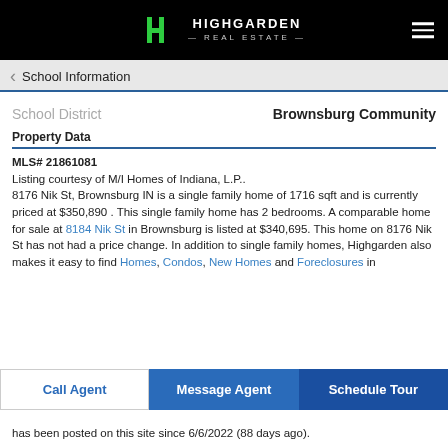[Figure (logo): Highgarden Real Estate logo with green H icon on black header bar]
School Information
School District    Brownsburg Community
Property Data
MLS# 21861081
Listing courtesy of M/I Homes of Indiana, L.P..
8176 Nik St, Brownsburg IN is a single family home of 1716 sqft and is currently priced at $350,890 . This single family home has 2 bedrooms. A comparable home for sale at 8184 Nik St in Brownsburg is listed at $340,695. This home on 8176 Nik St has not had a price change. In addition to single family homes, Highgarden also makes it easy to find Homes, Condos, New Homes and Foreclosures in
has been posted on this site since 6/6/2022 (88 days ago).